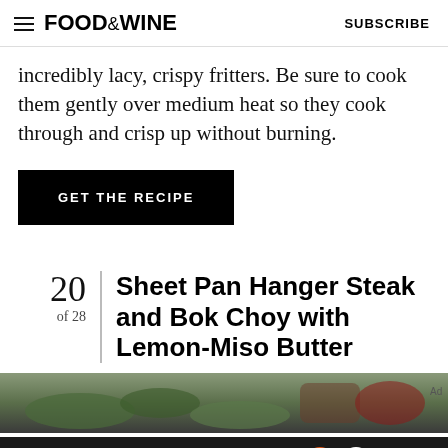FOOD&WINE   SUBSCRIBE
incredibly lacy, crispy fritters. Be sure to cook them gently over medium heat so they cook through and crisp up without burning.
GET THE RECIPE
20 of 28  Sheet Pan Hanger Steak and Bok Choy with Lemon-Miso Butter
[Figure (photo): Food photo strip showing cooked greens and steak dish]
We help people find answers, solve problems and get inspired.  Dotdash meredith